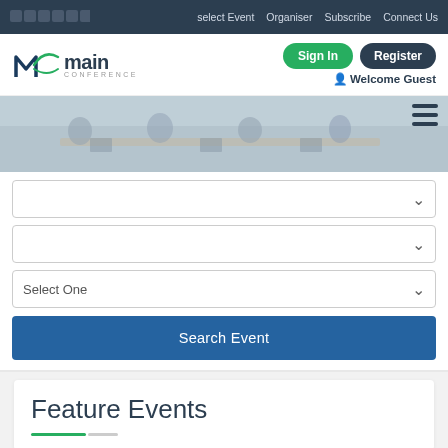select Event  Organiser  Subscribe  Connect Us
[Figure (logo): MC Main Conference logo with stylized M and swoosh graphic]
Sign In
Register
Welcome Guest
[Figure (photo): Hero image showing people working at a conference table with laptops]
Select One
Search Event
Feature Events